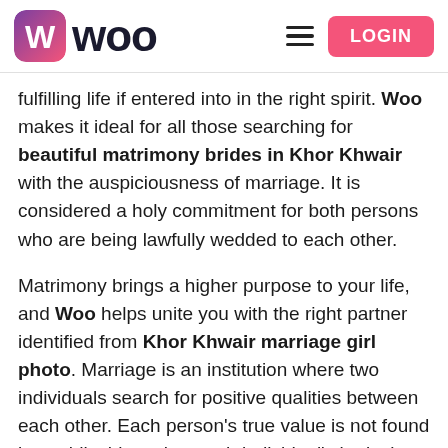Woo — LOGIN
fulfilling life if entered into in the right spirit. Woo makes it ideal for all those searching for beautiful matrimony brides in Khor Khwair with the auspiciousness of marriage. It is considered a holy commitment for both persons who are being lawfully wedded to each other.
Matrimony brings a higher purpose to your life, and Woo helps unite you with the right partner identified from Khor Khwair marriage girl photo. Marriage is an institution where two individuals search for positive qualities between each other. Each person's true value is not found in worldly things, but each individual's intrinsic worth. When your heart is pure and willing to sacrifice for another person, you will join the dots and see that your life from the start is meant to be devoted to serving one another.